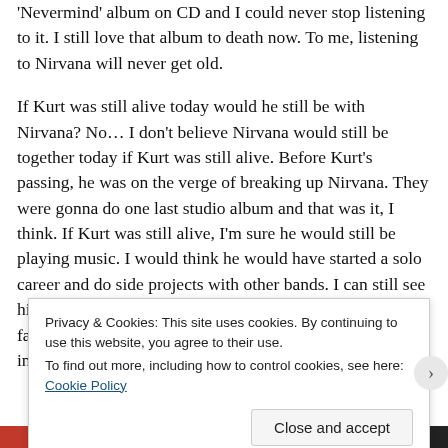'Nevermind' album on CD and I could never stop listening to it. I still love that album to death now. To me, listening to Nirvana will never get old.
If Kurt was still alive today would he still be with Nirvana? No… I don't believe Nirvana would still be together today if Kurt was still alive. Before Kurt's passing, he was on the verge of breaking up Nirvana. They were gonna do one last studio album and that was it, I think. If Kurt was still alive, I'm sure he would still be playing music. I would think he would have started a solo career and do side projects with other bands. I can still see him being involved in music though. I won't believe that fake suicide note where he said he was gonna give up the industry 'cause it's a load of bull.
Privacy & Cookies: This site uses cookies. By continuing to use this website, you agree to their use.
To find out more, including how to control cookies, see here: Cookie Policy
Close and accept